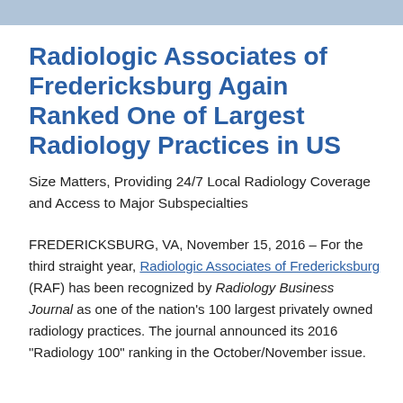Radiologic Associates of Fredericksburg Again Ranked One of Largest Radiology Practices in US
Size Matters, Providing 24/7 Local Radiology Coverage and Access to Major Subspecialties
FREDERICKSBURG, VA, November 15, 2016 – For the third straight year, Radiologic Associates of Fredericksburg (RAF) has been recognized by Radiology Business Journal as one of the nation's 100 largest privately owned radiology practices. The journal announced its 2016 “Radiology 100” ranking in the October/November issue.